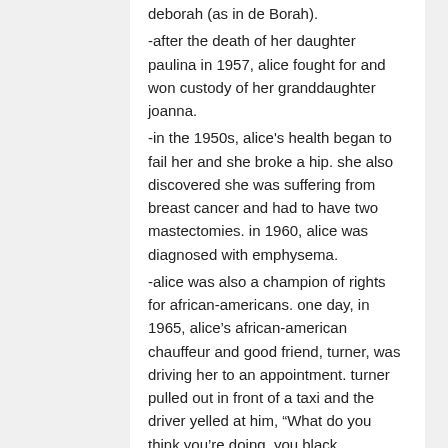deborah (as in de Borah).
-after the death of her daughter paulina in 1957, alice fought for and won custody of her granddaughter joanna.
-in the 1950s, alice's health began to fail her and she broke a hip. she also discovered she was suffering from breast cancer and had to have two mastectomies. in 1960, alice was diagnosed with emphysema.
-alice was also a champion of rights for african-americans. one day, in 1965, alice's african-american chauffeur and good friend, turner, was driving her to an appointment. turner pulled out in front of a taxi and the driver yelled at him, "What do you think you're doing, you black